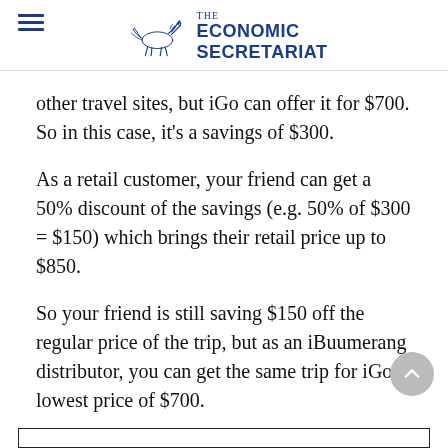THE ECONOMIC SECRETARIAT
other travel sites, but iGo can offer it for $700. So in this case, it's a savings of $300.
As a retail customer, your friend can get a 50% discount of the savings (e.g. 50% of $300 = $150) which brings their retail price up to $850.
So your friend is still saving $150 off the regular price of the trip, but as an iBuumerang distributor, you can get the same trip for iGo's lowest price of $700.